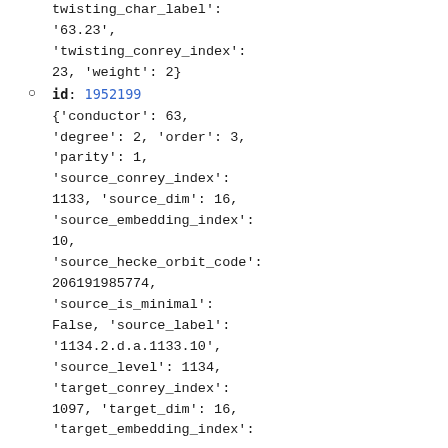twisting_char_label': '63.23', 'twisting_conrey_index': 23, 'weight': 2}
id: 1952199
{'conductor': 63, 'degree': 2, 'order': 3, 'parity': 1, 'source_conrey_index': 1133, 'source_dim': 16, 'source_embedding_index': 10, 'source_hecke_orbit_code': 206191985774, 'source_is_minimal': False, 'source_label': '1134.2.d.a.1133.10', 'source_level': 1134, 'target_conrey_index': 1097, 'target_dim': 16, 'target_embedding_index':